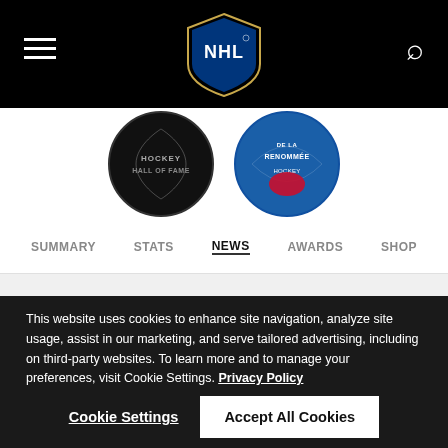NHL navigation header with hamburger menu, NHL logo, and search icon
[Figure (logo): NHL shield logo centered in black top bar]
[Figure (logo): Two circular badge logos - Hockey Hall of Fame related badges]
SUMMARY   STATS   NEWS   AWARDS   SHOP
Career
| GP | G | A | P | +/- |
| --- | --- | --- | --- | --- |
This website uses cookies to enhance site navigation, analyze site usage, assist in our marketing, and serve tailored advertising, including on third-party websites. To learn more and to manage your preferences, visit Cookie Settings. Privacy Policy
Cookie Settings   Accept All Cookies